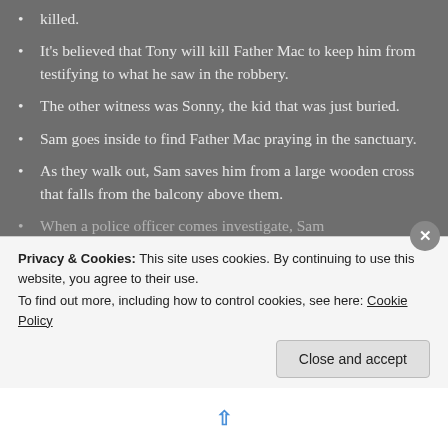killed.
It's believed that Tony will kill Father Mac to keep him from testifying to what he saw in the robbery.
The other witness was Sonny, the kid that was just buried.
Sam goes inside to find Father Mac praying in the sanctuary.
As they walk out, Sam saves him from a large wooden cross that falls from the balcony above them.
When a police officer comes investigate, Sam
Privacy & Cookies: This site uses cookies. By continuing to use this website, you agree to their use.
To find out more, including how to control cookies, see here: Cookie Policy
Close and accept